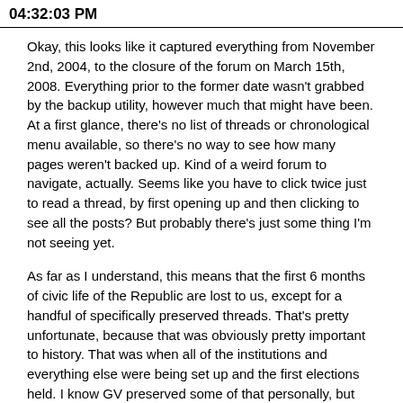04:32:03 PM
Okay, this looks like it captured everything from November 2nd, 2004, to the closure of the forum on March 15th, 2008. Everything prior to the former date wasn't grabbed by the backup utility, however much that might have been. At a first glance, there's no list of threads or chronological menu available, so there's no way to see how many pages weren't backed up. Kind of a weird forum to navigate, actually. Seems like you have to click twice just to read a thread, by first opening up and then clicking to see all the posts? But probably there's just some thing I'm not seeing yet.
As far as I understand, this means that the first 6 months of civic life of the Republic are lost to us, except for a handful of specifically preserved threads. That's pretty unfortunate, because that was obviously pretty important to history. That was when all of the institutions and everything else were being set up and the first elections held. I know GV preserved some of that personally, but there's still bound to be a lot of stuff missing.
Rather more unfortunately, it looks like the second message board used by the Republic wasn't backed up anywhere by anyone, except for some of the titles of the threads in 2008. So that means all of the discussions and most of the records from 2008 to 2012 would be gone. Does anyone have any leads on where we could obtain either of these bodies of records? I feel like I'm forgetting something.  Is it just that Dieter still has the second forum somewhere?  If so, we should make getting that